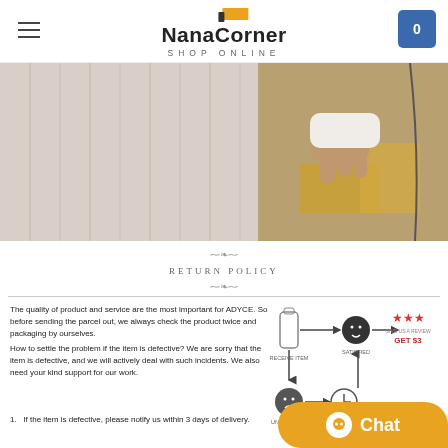NanaCorner — SHOP ONLINE
[Figure (photo): Hero banner image showing fabric rolls and a hand touching yellow/golden material]
[Figure (infographic): Return Policy ornamental badge with decorative flourishes]
The quality of product and service are the most important for ADYCE. So before sending the parcel out, we always check the product twice and packaging by ourselves. How to settle the problem if the item is defective? We are sorry that the item is defective, and we will actively deal with such incidents. We also need your kind support for our work.
1. If the item is defective, please notify us within 3 days of delivery.
[Figure (flowchart): Return policy flowchart showing: RECEIVE ITEM → (satisfied) SATISFIED → GET $3 review coupon; (unsatisfied) UNSATISFIED → CONTACT US → resolution path]